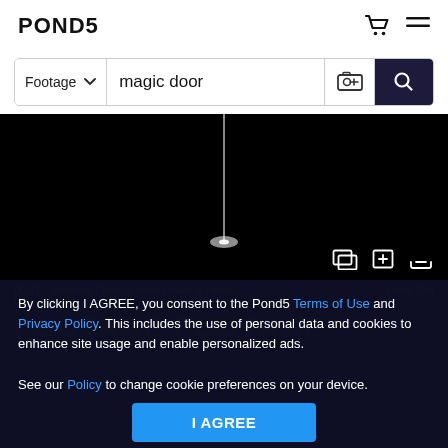POND5
[Figure (screenshot): Search bar with 'Footage' dropdown, 'magic door' text input, image search icon, and dark blue search button with magnifying glass icon]
[Figure (screenshot): Dark video frame showing a glowing vertical line/door on black background, with video control icons at bottom right]
By clicking I AGREE, you consent to the Pond5 Terms of Use and Privacy Policy. This includes the use of personal data and cookies to enhance site usage and enable personalized ads.

See our Policy to change cookie preferences on your device.
I AGREE